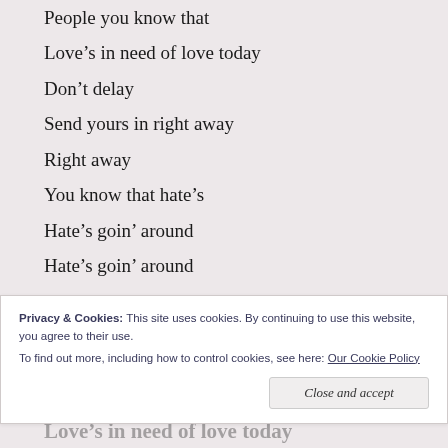People you know that
Love's in need of love today
Don't delay
Send yours in right away
Right away
You know that hate's
Hate's goin' around
Hate's goin' around
Breaking many hearts
Stop
You've got to stop it please
Privacy & Cookies: This site uses cookies. By continuing to use this website, you agree to their use.
To find out more, including how to control cookies, see here: Our Cookie Policy
Love's in need of love today